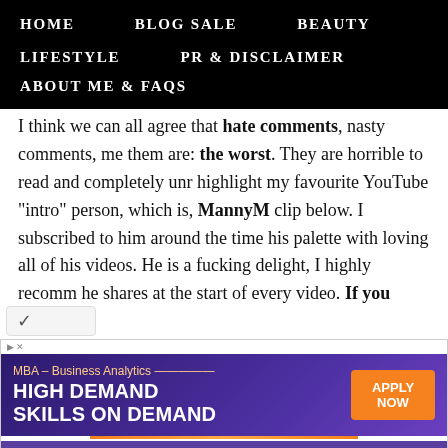HOME   BLOG SALE   BEAUTY   LIFESTYLE   PR & DISCLAIMER   ABOUT ME & FAQs
I think we can all agree that hate comments, nasty comments, me them are: the worst. They are horrible to read and completely unr highlight my favourite YouTube "intro" person, which is, MannyM clip below. I subscribed to him around the time his palette with loving all of his videos. He is a fucking delight, I highly recomm he shares at the start of every video. If you don't like someone do posts or stalk their Instagram pages, why would you?
[Figure (screenshot): Advertisement for High Point University MBA Business Analytics program: HIGH DEMAND SKILLS ON DEMAND with APPLY NOW button]